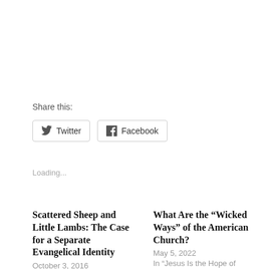Share this:
Twitter   Facebook
Loading...
Scattered Sheep and Little Lambs: The Case for a Separate Evangelical Identity
October 3, 2016
What Are the “Wicked Ways” of the American Church?
May 5, 2022
In "Jesus Is the Hope of